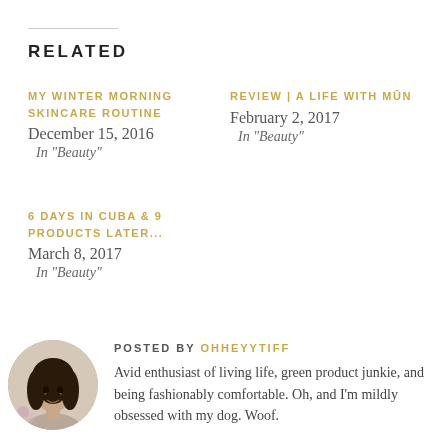RELATED
MY WINTER MORNING SKINCARE ROUTINE
December 15, 2016
In "Beauty"
REVIEW | A LIFE WITH MÛN
February 2, 2017
In "Beauty"
6 DAYS IN CUBA & 9 PRODUCTS LATER...
March 8, 2017
In "Beauty"
POSTED BY OHHEYYTIFF
Avid enthusiast of living life, green product junkie, and being fashionably comfortable. Oh, and I'm mildly obsessed with my dog. Woof.